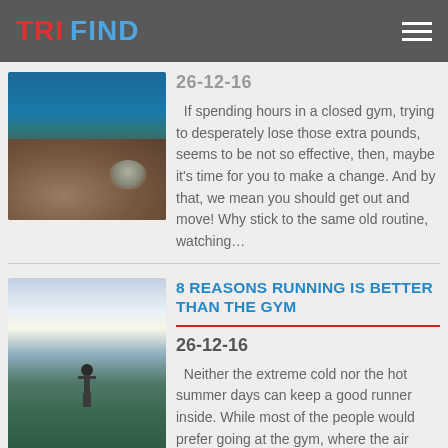TRI FIND
[Figure (photo): Rocky mountainous landscape with blue sky]
26-12-16
If spending hours in a closed gym, trying to desperately lose those extra pounds, seems to be not so effective, then, maybe it's time for you to make a change. And by that, we mean you should get out and move! Why stick to the same old routine, watching…
8 REASONS RUNNING IS BETTER THAN THE GYM
[Figure (photo): Person standing on hilltop overlooking forest and bright sky]
26-12-16
Neither the extreme cold nor the hot summer days can keep a good runner inside. While most of the people would prefer going at the gym, where the air conditioner and temperature are